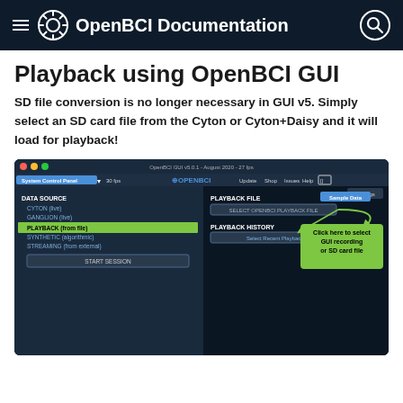OpenBCI Documentation
Playback using OpenBCI GUI
SD file conversion is no longer necessary in GUI v5. Simply select an SD card file from the Cyton or Cyton+Daisy and it will load for playback!
[Figure (screenshot): OpenBCI GUI v5.0.1 screenshot showing the System Control Panel with DATA SOURCE options (CYTON, GANGLION, PLAYBACK from file highlighted in green, SYNTHETIC, STREAMING) and PLAYBACK FILE section with SELECT OPENBCI PLAYBACK FILE button and PLAYBACK HISTORY dropdown. An annotation arrow and green callout box reads: Click here to select GUI recording or SD card file.]